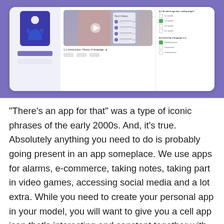[Figure (screenshot): Screenshot of an e-learning app UI on a purple background, showing a course page with video thumbnail, next videos list, and quiz questions with multiple choice options.]
“There’s an app for that” was a type of iconic phrases of the early 2000s. And, it’s true. Absolutely anything you need to do is probably going present in an app someplace. We use apps for alarms, e-commerce, taking notes, taking part in video games, accessing social media and a lot extra. While you need to create your personal app in your model, you will want to give you a cell app icon that’s interesting and constant together with your app.